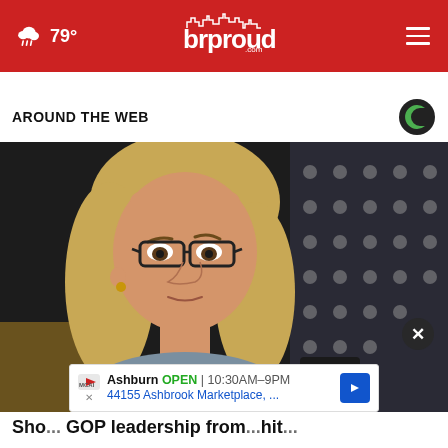brproud.com — 79° weather, navigation header
AROUND THE WEB
[Figure (photo): Woman with blonde hair and dark-rimmed glasses, photographed at what appears to be a congressional hearing. An American flag with stars is visible in the background.]
Ashburn  OPEN  10:30AM–9PM  44155 Ashbrook Marketplace, ...
Sho... GOP leadership from...hit...